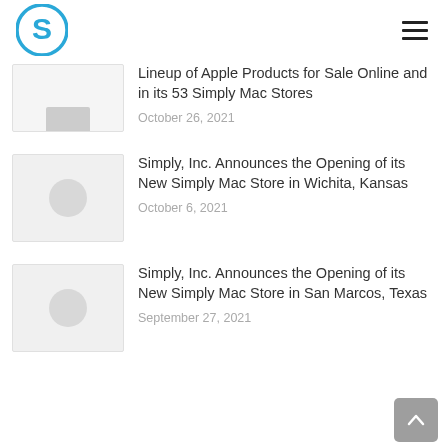Simply Mac header with logo and navigation
[Figure (screenshot): Partially visible thumbnail image for first article]
Lineup of Apple Products for Sale Online and in its 53 Simply Mac Stores
October 26, 2021
[Figure (photo): Placeholder thumbnail for Wichita Kansas article]
Simply, Inc. Announces the Opening of its New Simply Mac Store in Wichita, Kansas
October 6, 2021
[Figure (photo): Placeholder thumbnail for San Marcos Texas article]
Simply, Inc. Announces the Opening of its New Simply Mac Store in San Marcos, Texas
September 27, 2021